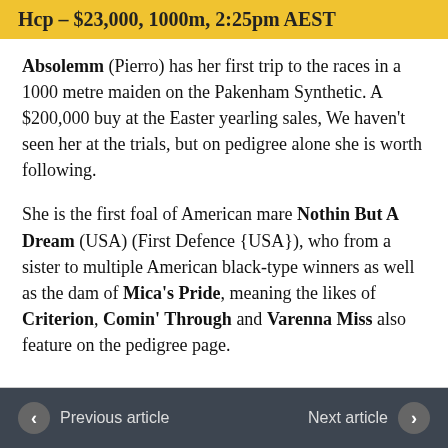Hcp – $23,000, 1000m, 2:25pm AEST
Absolemm (Pierro) has her first trip to the races in a 1000 metre maiden on the Pakenham Synthetic. A $200,000 buy at the Easter yearling sales, We haven't seen her at the trials, but on pedigree alone she is worth following.
She is the first foal of American mare Nothin But A Dream (USA) (First Defence {USA}), who from a sister to multiple American black-type winners as well as the dam of Mica's Pride, meaning the likes of Criterion, Comin' Through and Varenna Miss also feature on the pedigree page.
Previous article   Next article